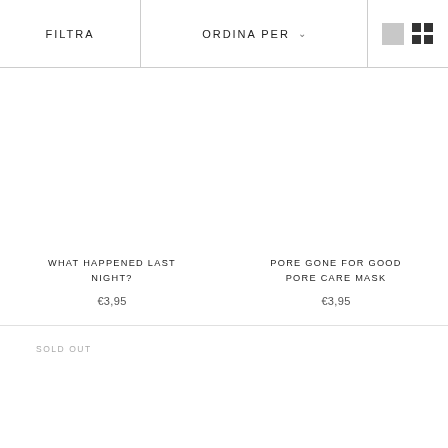FILTRA   ORDINA PER
WHAT HAPPENED LAST NIGHT?
€3,95
PORE GONE FOR GOOD PORE CARE MASK
€3,95
SOLD OUT